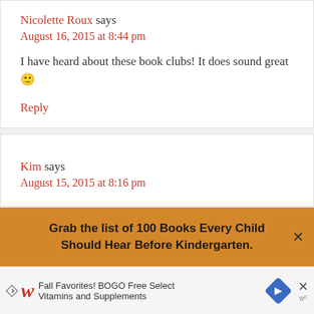Nicolette Roux says
August 16, 2015 at 8:44 pm
I have heard about these book clubs! It does sound great 🙂
Reply
Kim says
August 15, 2015 at 8:16 pm
Grab the list of 100 Books Every Child Should Hear Before Kindergarten.
Fall Favorites! BOGO Free Select Vitamins and Supplements